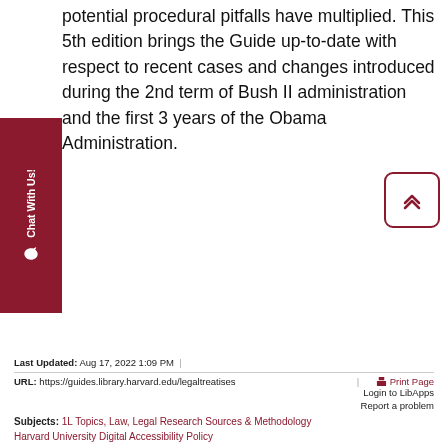potential procedural pitfalls have multiplied. This 5th edition brings the Guide up-to-date with respect to recent cases and changes introduced during the 2nd term of Bush II administration and the first 3 years of the Obama Administration.
[Figure (other): Chat With Us! widget button on left side]
[Figure (other): Scroll to top button with chevron icon on right side]
Last Updated: Aug 17, 2022 1:09 PM
URL: https://guides.library.harvard.edu/legaltreatises
Print Page  Login to LibApps
Report a problem
Subjects: 1L Topics, Law, Legal Research Sources & Methodology
Harvard University Digital Accessibility Policy